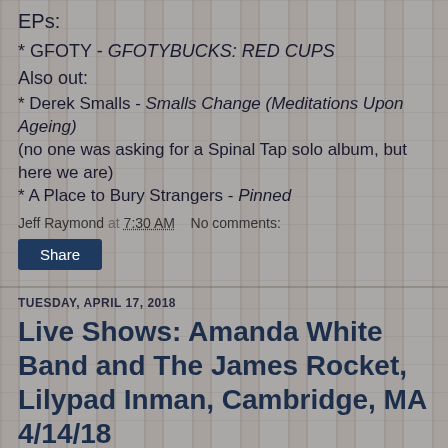EPs:
* GFOTY - GFOTYBUCKS: RED CUPS
Also out:
* Derek Smalls - Smalls Change (Meditations Upon Ageing) (no one was asking for a Spinal Tap solo album, but here we are)
* A Place to Bury Strangers - Pinned
Jeff Raymond at 7:30 AM    No comments:
Share
TUESDAY, APRIL 17, 2018
Live Shows: Amanda White Band and The James Rocket, Lilypad Inman, Cambridge, MA 4/14/18